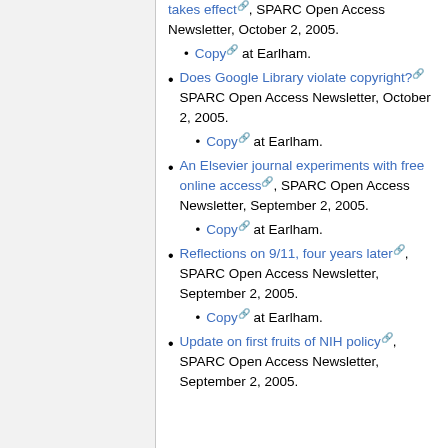takes effect, SPARC Open Access Newsletter, October 2, 2005.
Copy at Earlham.
Does Google Library violate copyright? SPARC Open Access Newsletter, October 2, 2005.
Copy at Earlham.
An Elsevier journal experiments with free online access, SPARC Open Access Newsletter, September 2, 2005.
Copy at Earlham.
Reflections on 9/11, four years later, SPARC Open Access Newsletter, September 2, 2005.
Copy at Earlham.
Update on first fruits of NIH policy, SPARC Open Access Newsletter, September 2, 2005.